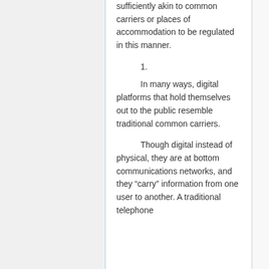sufficiently akin to common carriers or places of accommodation to be regulated in this manner.
1.
In many ways, digital platforms that hold themselves out to the public resemble traditional common carriers.
Though digital instead of physical, they are at bottom communications networks, and they “carry” information from one user to another. A traditional telephone